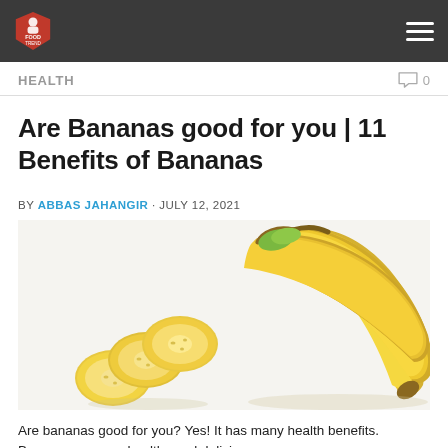FOOD TREND [logo] — hamburger menu
HEALTH
Are Bananas good for you | 11 Benefits of Bananas
BY ABBAS JAHANGIR · JULY 12, 2021
[Figure (photo): A bunch of ripe yellow bananas alongside several sliced banana rounds, on a white background.]
Are bananas good for you? Yes! It has many health benefits. Bananas are very healthy and delicious.